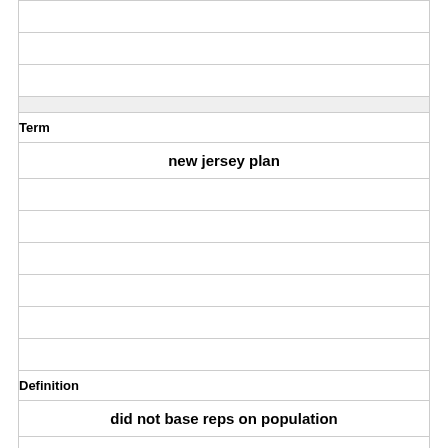|  |  |
|  |  |
|  |  |
| Term |  |
| new jersey plan |  |
|  |  |
|  |  |
|  |  |
|  |  |
|  |  |
|  |  |
| Definition |  |
| did not base reps on population |  |
|  |  |
|  |  |
|  |  |